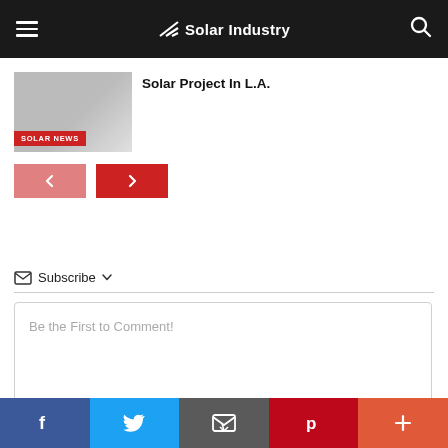Solar Industry
Solar Project In L.A.
SOLAR NEWS
Subscribe
Be the First to Comment!